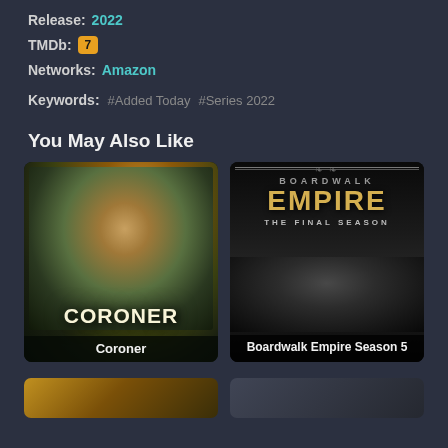Release: 2022
TMDb: 7
Networks: Amazon
Keywords: #Added Today  #Series 2022
You May Also Like
[Figure (photo): Promotional poster for TV show 'Coroner' — a woman's face in dramatic lighting with golden/dark background]
Coroner
[Figure (photo): Promotional poster for 'Boardwalk Empire The Final Season' — dark background with ornate border, large stylized text, shadowed man's face at bottom]
Boardwalk Empire Season 5